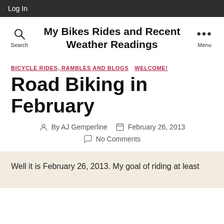Log In
My Bikes Rides and Recent Weather Readings
BICYCLE RIDES, RAMBLES AND BLOGS   WELCOME!
Road Biking in February
By AJ Gemperline   February 26, 2013   No Comments
Well it is February 26, 2013. My goal of riding at least